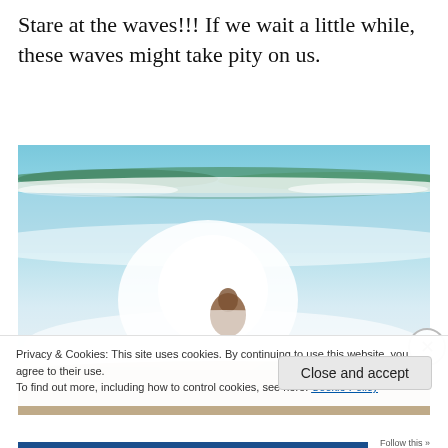Stare at the waves!!! If we wait a little while, these waves might take pity on us.
[Figure (photo): A dog being hit by ocean waves on a sandy beach. Green waves with white foam crashing, dog nearly submerged in white water splash.]
Privacy & Cookies: This site uses cookies. By continuing to use this website, you agree to their use.
To find out more, including how to control cookies, see here: Cookie Policy
Close and accept